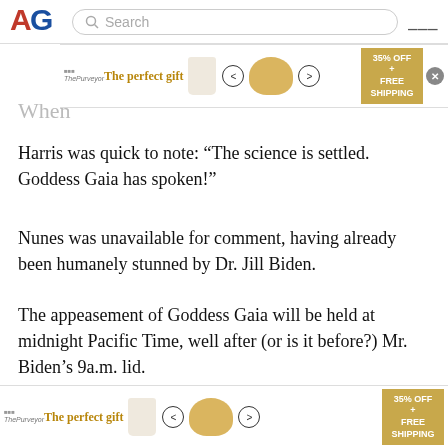[Figure (logo): AG logo with red and blue letters]
[Figure (screenshot): Top ad banner: The perfect gift, 35% OFF + FREE SHIPPING]
When
Harris was quick to note: “The science is settled. Goddess Gaia has spoken!”
Nunes was unavailable for comment, having already been humanely stunned by Dr. Jill Biden.
The appeasement of Goddess Gaia will be held at midnight Pacific Time, well after (or is it before?) Mr. Biden’s 9a.m. lid.
And, in an exclusive deal with former President Barack and First Lady Michelle Obama’s production company,
[Figure (screenshot): Bottom ad banner: The perfect gift, 35% OFF + FREE SHIPPING]